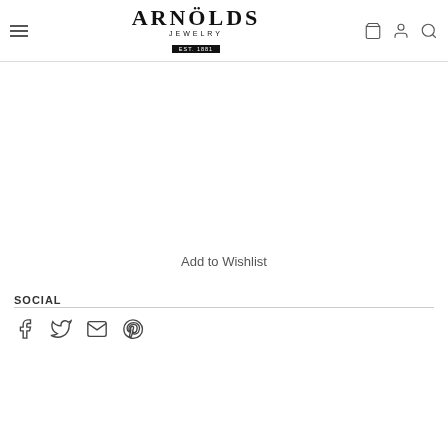Arnolds Jewelry - EST. 1881 header with navigation icons
Add to Wishlist
SOCIAL
[Figure (other): Social media icons: Facebook, Twitter, Email, Pinterest]